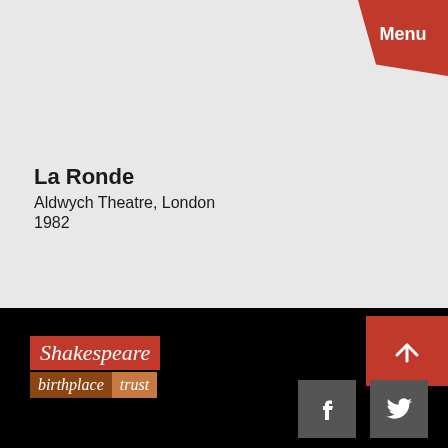[Figure (logo): Red Menu button top-right corner with clipped/folded bottom-left corner]
La Ronde
Aldwych Theatre, London
1982
[Figure (logo): Shakespeare Birthplace Trust logo in red and brown on black footer]
[Figure (other): Red back-to-top button with upward arrow]
[Figure (logo): Facebook icon grey square]
[Figure (logo): Twitter bird icon grey square]